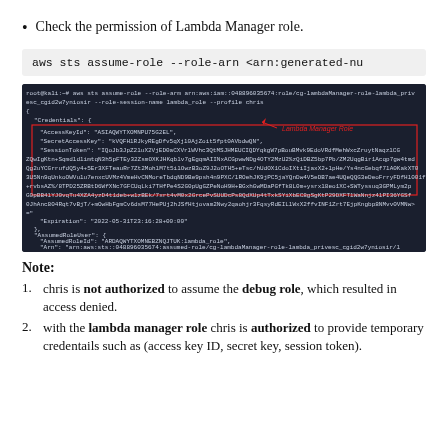Check the permission of Lambda Manager role.
aws sts assume-role --role-arn <arn:generated-nu
[Figure (screenshot): Terminal screenshot showing AWS CLI command output with credentials (AccessKeyId, SecretAccessKey, SessionToken, Expiration) and AssumedRoleUser details for lambda_role, with a red box highlighting the credentials section and a red arrow pointing to 'Lambda Manager Role' label.]
Note:
chris is not authorized to assume the debug role, which resulted in access denied.
with the lambda manager role chris is authorized to provide temporary credentails such as (access key ID, secret key, session token).